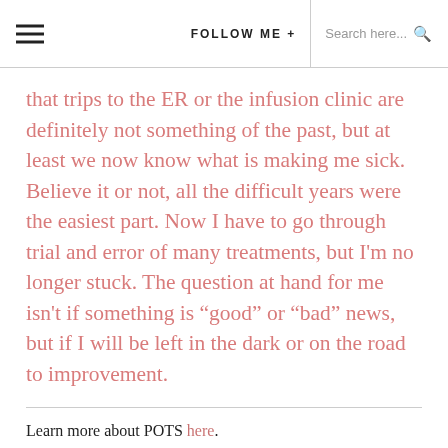FOLLOW ME +  Search here...
that trips to the ER or the infusion clinic are definitely not something of the past, but at least we now know what is making me sick. Believe it or not, all the difficult years were the easiest part. Now I have to go through trial and error of many treatments, but I'm no longer stuck. The question at hand for me isn't if something is “good” or “bad” news, but if I will be left in the dark or on the road to improvement.
Learn more about POTS here.
We’re all in this together! Check out this GirlSpring contributor’s health story.